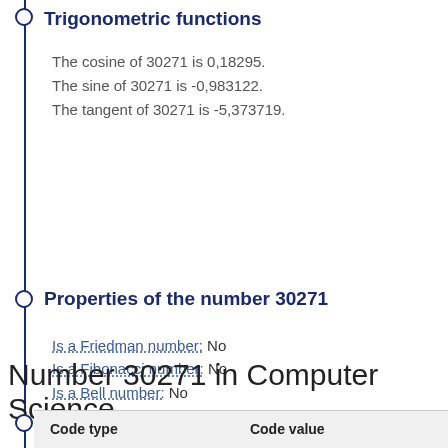Trigonometric functions
The cosine of 30271 is 0,18295.
The sine of 30271 is -0,983122.
The tangent of 30271 is -5,373719.
Properties of the number 30271
Is a Friedman number: No
Is a Fibonacci number: No
Is a Bell number: No
Is a palindromic number: No
Is a pentagonal number: No
Is a perfect number: No
Number 30271 in Computer Science
| Code type | Code value |
| --- | --- |